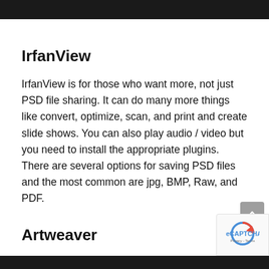IrfanView
IrfanView is for those who want more, not just PSD file sharing. It can do many more things like convert, optimize, scan, and print and create slide shows. You can also play audio / video but you need to install the appropriate plugins. There are several options for saving PSD files and the most common are jpg, BMP, Raw, and PDF.
Artweaver
Artweaver is a fantastic tool to open PSD files